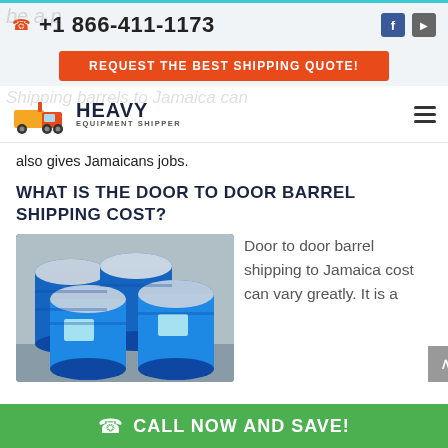+1 866-411-1173
REQUEST THE BEST SHIPPING QUOTE!
[Figure (logo): Heavy Equipment Shipper logo with red truck icon and bold text]
also gives Jamaicans jobs.
WHAT IS THE DOOR TO DOOR BARREL SHIPPING COST?
[Figure (photo): Photo of blue shipping barrels/drums stacked together outdoors]
Door to door barrel shipping to Jamaica cost can vary greatly. It is a
CALL NOW AND SAVE!